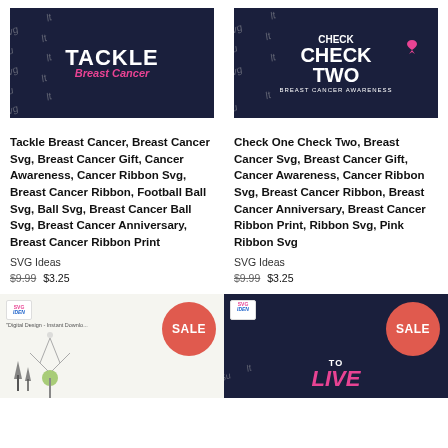[Figure (illustration): Tackle Breast Cancer SVG design on dark navy background with football and pink ribbon, watermarked]
[Figure (illustration): Check One Check Two Breast Cancer Awareness SVG design on dark navy background with pink ribbon, watermarked]
Tackle Breast Cancer, Breast Cancer Svg, Breast Cancer Gift, Cancer Awareness, Cancer Ribbon Svg, Breast Cancer Ribbon, Football Ball Svg, Ball Svg, Breast Cancer Ball Svg, Breast Cancer Anniversary, Breast Cancer Ribbon Print
Check One Check Two, Breast Cancer Svg, Breast Cancer Gift, Cancer Awareness, Cancer Ribbon Svg, Breast Cancer Ribbon, Breast Cancer Anniversary, Breast Cancer Ribbon Print, Ribbon Svg, Pink Ribbon Svg
SVG Ideas
SVG Ideas
$9.99 $3.25
$9.99 $3.25
[Figure (illustration): Digital Design Instant Download product with dandelion, SVG Ideas logo, SALE badge]
[Figure (illustration): To Live breast cancer SVG design on dark background, SVG Ideas logo, SALE badge]